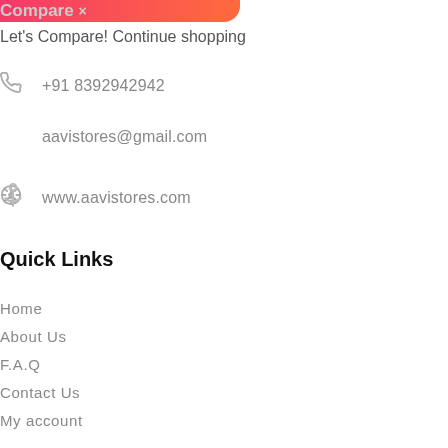Compare ×
Let's Compare! Continue shopping
+91 8392942942
aavistores@gmail.com
www.aavistores.com
Quick Links
Home
About Us
F.A.Q
Contact Us
My account